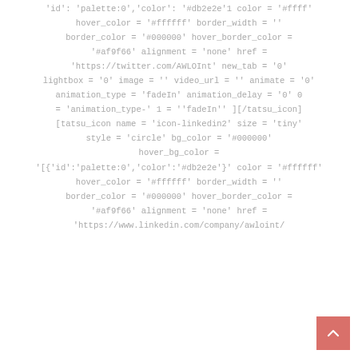'id': 'palette:0','color': '#db2e2e'1 color = '#ffff' hover_color = '#ffffff' border_width = '' border_color = '#000000' hover_border_color = '#af9f66' alignment = 'none' href = 'https://twitter.com/AWLOInt' new_tab = '0' lightbox = '0' image = '' video_url = '' animate = '0' animation_type = 'fadeIn' animation_delay = '0' 0 = 'animation_type-' 1 = ''fadeIn'' ][/tatsu_icon] [tatsu_icon name = 'icon-linkedin2' size = 'tiny' style = 'circle' bg_color = '#000000' hover_bg_color = '[{'id':'palette:0','color':'#db2e2e'}' color = '#ffffff' hover_color = '#ffffff' border_width = '' border_color = '#000000' hover_border_color = '#af9f66' alignment = 'none' href = 'https://www.linkedin.com/company/awloint/
[Figure (other): Back to top button - a salmon/coral colored square with an upward-pointing chevron arrow in white]